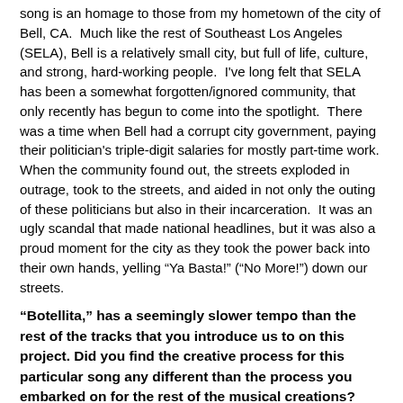song is an homage to those from my hometown of the city of Bell, CA.  Much like the rest of Southeast Los Angeles (SELA), Bell is a relatively small city, but full of life, culture, and strong, hard-working people.  I've long felt that SELA has been a somewhat forgotten/ignored community, that only recently has begun to come into the spotlight.  There was a time when Bell had a corrupt city government, paying their politician's triple-digit salaries for mostly part-time work.  When the community found out, the streets exploded in outrage, took to the streets, and aided in not only the outing of these politicians but also in their incarceration.  It was an ugly scandal that made national headlines, but it was also a proud moment for the city as they took the power back into their own hands, yelling "Ya Basta!" ("No More!") down our streets.
"Botellita," has a seemingly slower tempo than the rest of the tracks that you introduce us to on this project. Did you find the creative process for this particular song any different than the process you embarked on for the rest of the musical creations?
This song is probably the oldest of the album and